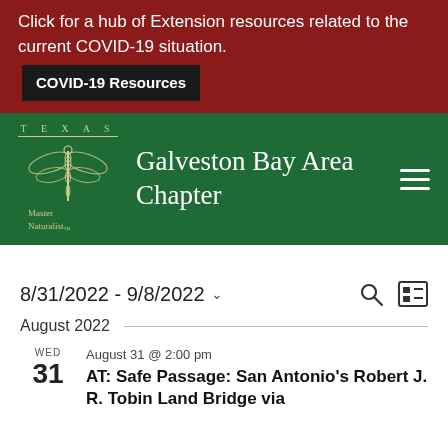Click for a hub of Extension resources related to the current COVID-19 situation. COVID-19 Resources
[Figure (logo): Texas Master Naturalist logo with dragonfly and text 'TEXAS Master Naturalist' alongside 'Galveston Bay Area Chapter' heading and hamburger menu icon on green background]
8/31/2022 - 9/8/2022
August 2022
WED 31 August 31 @ 2:00 pm AT: Safe Passage: San Antonio's Robert J. R. Tobin Land Bridge via